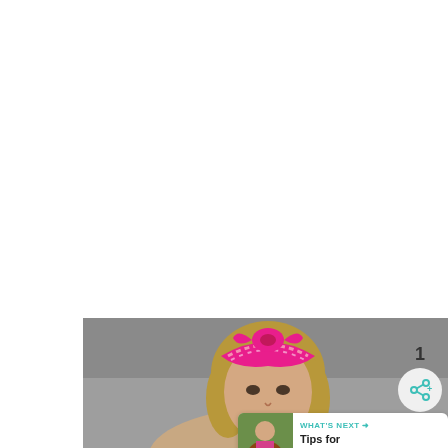[Figure (photo): A young girl with blonde hair wearing a pink and white gingham/checkered headband tied in a bow on top, photographed against a gray studio background. The photo is a school portrait style image showing her from the shoulders up.]
[Figure (infographic): Teal circular button with a white heart icon (like/favorite button) showing count of 1, and a light gray circular share button with a teal share/add icon below it.]
1
[Figure (screenshot): A 'WHAT'S NEXT' panel with a small thumbnail of a school picture photo and text reading 'Tips for School Pictu...']